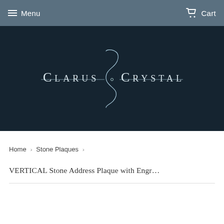Menu   Cart
[Figure (logo): Clarus Crystal logo with decorative script flourish, white text on dark navy background]
Home › Stone Plaques ›
VERTICAL Stone Address Plaque with Engr…